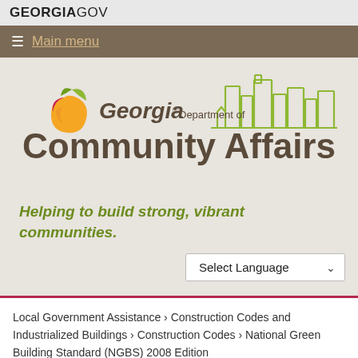GEORGIAGOV
Main menu
[Figure (logo): Georgia Department of Community Affairs logo with peach/leaf icon and city skyline silhouette]
Helping to build strong, vibrant communities.
Select Language
Local Government Assistance › Construction Codes and Industrialized Buildings › Construction Codes › National Green Building Standard (NGBS) 2008 Edition